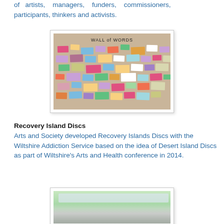of artists, managers, funders, commissioners, participants, thinkers and activists.
[Figure (photo): Photo of a 'Wall of Words' bulletin board covered in colorful sticky notes and paper pieces with handwritten words.]
Recovery Island Discs
Arts and Society developed Recovery Islands Discs with the Wiltshire Addiction Service based on the idea of Desert Island Discs as part of Wiltshire's Arts and Health conference in 2014.
[Figure (photo): Partial photo of an outdoor gathering or event with people and greenery visible.]